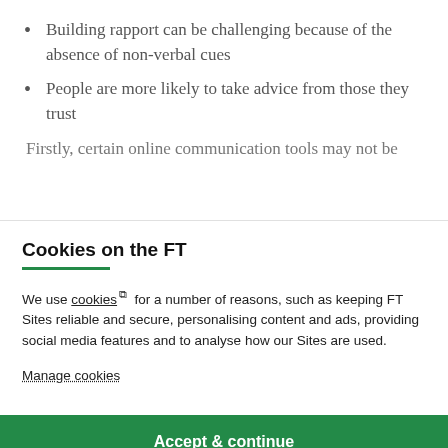Building rapport can be challenging because of the absence of non-verbal cues
People are more likely to take advice from those they trust
Firstly, certain online communication tools may not be
Cookies on the FT
We use cookies ⧉ for a number of reasons, such as keeping FT Sites reliable and secure, personalising content and ads, providing social media features and to analyse how our Sites are used.
Manage cookies
Accept & continue